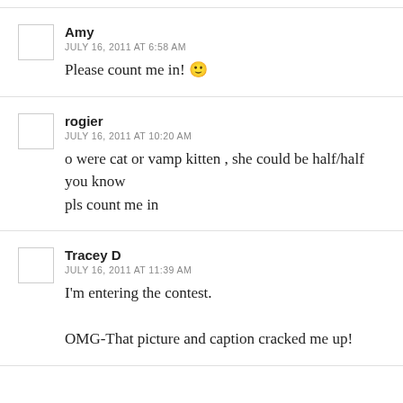Amy
JULY 16, 2011 AT 6:58 AM
Please count me in! 🙂
rogier
JULY 16, 2011 AT 10:20 AM
o were cat or vamp kitten , she could be half/half you know
pls count me in
Tracey D
JULY 16, 2011 AT 11:39 AM
I'm entering the contest.

OMG-That picture and caption cracked me up!